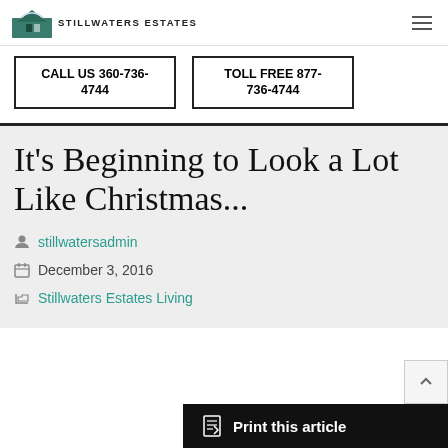STILLWATERS ESTATES
CALL US 360-736-4744
TOLL FREE 877-736-4744
It's Beginning to Look a Lot Like Christmas...
stillwatersadmin
December 3, 2016
Stillwaters Estates Living
Print this article